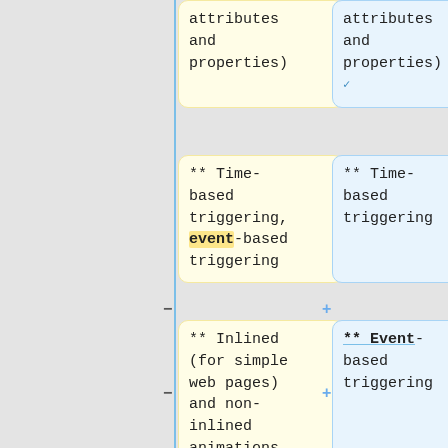| CSS Feature | Supported |
| --- | --- |
| attributes and properties) | attributes and properties) ✓ |
| ** Time-based triggering, event-based triggering | ** Time-based triggering |
| ** Inlined (for simple web pages) and non-inlined animations (to promote separation of content and presentation) | ** Event-based triggering |